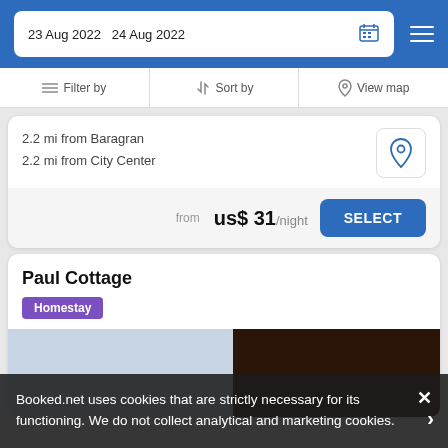23 Aug 2022  24 Aug 2022
Filter by   Sort by   View map
2.2 mi from Baragran
2.2 mi from City Center
from  US$ 31/night   SELECT
Paul Cottage
Homestay
Booked.net uses cookies that are strictly necessary for its functioning. We do not collect analytical and marketing cookies.